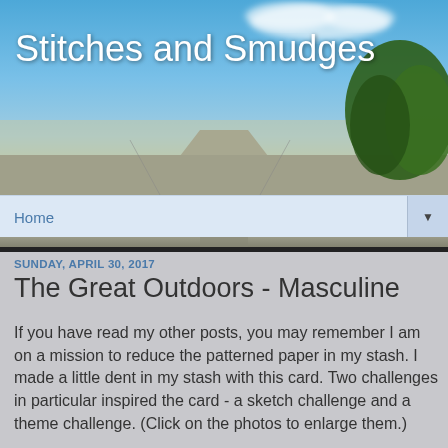[Figure (photo): Blog header banner with sky, road, and trees background image]
Stitches and Smudges
Home
SUNDAY, APRIL 30, 2017
The Great Outdoors - Masculine
If you have read my other posts, you may remember I am on a mission to reduce the patterned paper in my stash. I made a little dent in my stash with this card. Two challenges in particular inspired the card - a sketch challenge and a theme challenge. (Click on the photos to enlarge them.)